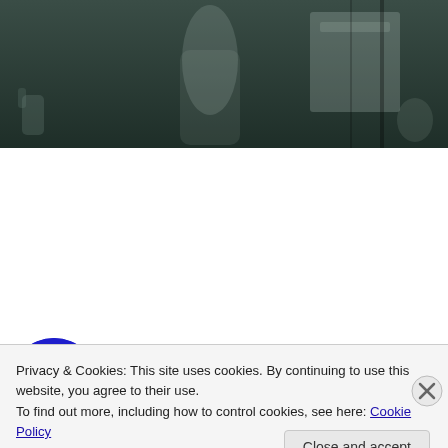[Figure (screenshot): Dark moody photo showing a ghostly figure or room scene with greenish-dark background tones, partial view cropped at top of page]
[Figure (screenshot): YouTube channel bar showing a blue eye logo circle for 'Bill Haley's Original Comets - 21st C...' with three-dot menu icon on dark background]
Privacy & Cookies: This site uses cookies. By continuing to use this website, you agree to their use.
To find out more, including how to control cookies, see here: Cookie Policy
Close and accept